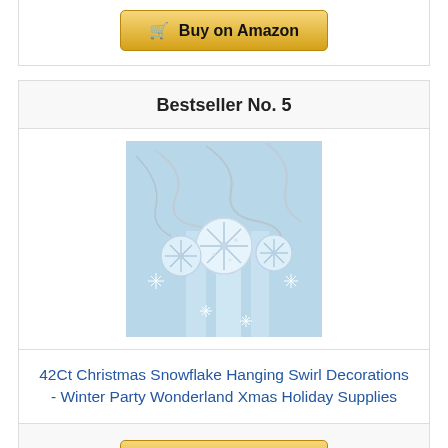[Figure (other): Buy on Amazon button (partial top card)]
Bestseller No. 5
[Figure (photo): 42Ct Christmas Snowflake Hanging Swirl Decorations product image showing silver swirls and sparkly snowflakes on a blue background]
42Ct Christmas Snowflake Hanging Swirl Decorations - Winter Party Wonderland Xmas Holiday Supplies
[Figure (other): Buy on Amazon button]
Bestseller No. 6